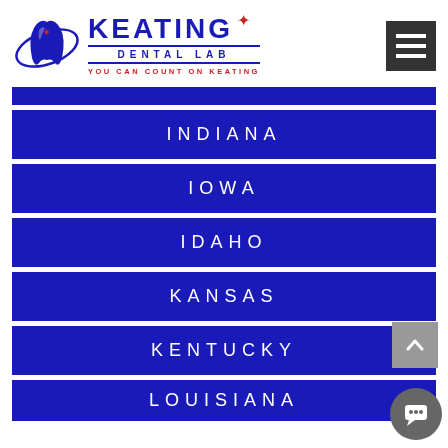[Figure (logo): Keating Dental Lab logo with tooth graphic, star, and tagline YOU CAN COUNT ON KEATING]
INDIANA
IOWA
IDAHO
KANSAS
KENTUCKY
LOUISIANA